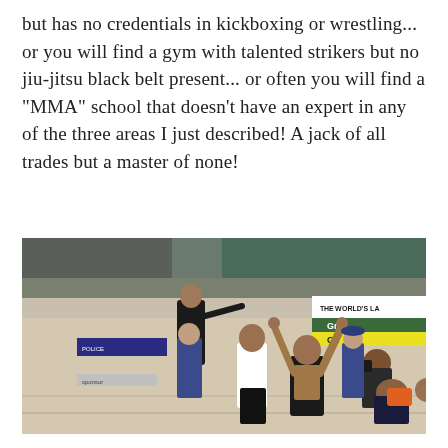but has no credentials in kickboxing or wrestling... or you will find a gym with talented strikers but no jiu-jitsu black belt present... or often you will find a "MMA" school that doesn't have an expert in any of the three areas I just described! A jack of all trades but a master of none!
[Figure (photo): A shirtless athlete stands on a competition mat with arms raised, pointing fingers upward in a victory pose. Another competitor in a white shirt and black shorts stands nearby. In the background are spectators, officials in blue uniforms, a photographer crouching on the mat, and banners reading 'The World's La...' and 'Gr' / 'Gh'. The venue appears to be a large indoor sports arena.]